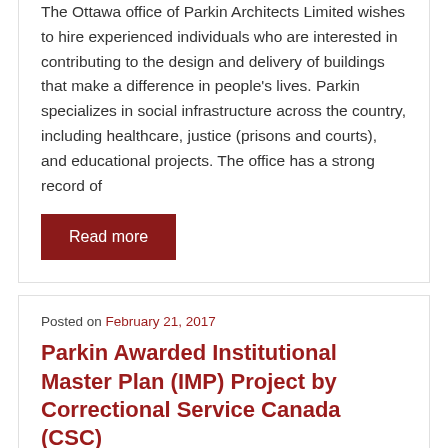The Ottawa office of Parkin Architects Limited wishes to hire experienced individuals who are interested in contributing to the design and delivery of buildings that make a difference in people's lives. Parkin specializes in social infrastructure across the country, including healthcare, justice (prisons and courts), and educational projects. The office has a strong record of
Read more
Posted on February 21, 2017
Parkin Awarded Institutional Master Plan (IMP) Project by Correctional Service Canada (CSC)
Parkin in association with CGL has been awarded the IMP Project by CSC.  The scope of work includes preparing IMPs for five federal correctional institutions across Canada, including: Dorchester Penitentiary (New Brunswick), Millhaven